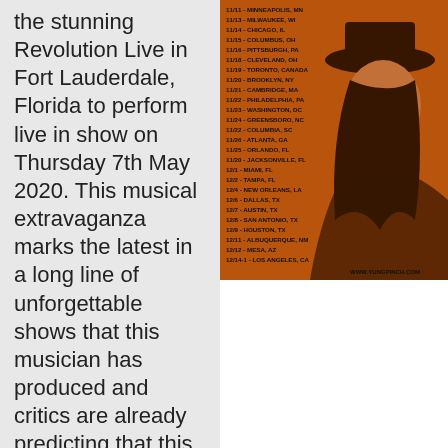the stunning Revolution Live in Fort Lauderdale, Florida to perform live in show on Thursday 7th May 2020. This musical extravaganza marks the latest in a long line of unforgettable shows that this musician has produced and critics are already predicting that this will be a capacity show. Yung Pinch has a history of playing to sold-out crowds who rush for the opportunity to experience their relentless energy
[Figure (illustration): Tour poster with orange background showing a person with long hair and a wide-brimmed hat. Tour dates listed on the left side including cities across the US and Canada. Website www.yungpinch.com shown at bottom right.]